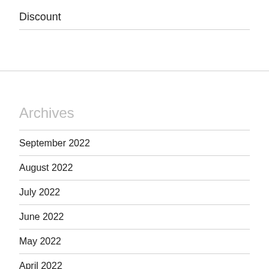Discount
Archives
September 2022
August 2022
July 2022
June 2022
May 2022
April 2022